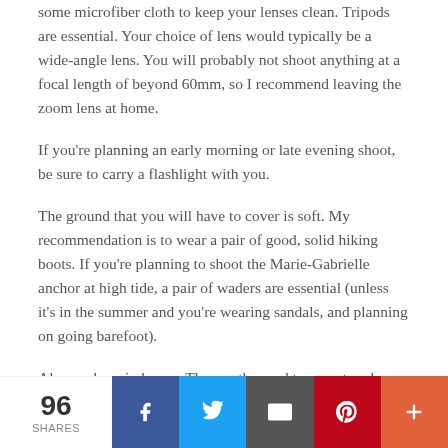some microfiber cloth to keep your lenses clean. Tripods are essential. Your choice of lens would typically be a wide-angle lens. You will probably not shoot anything at a focal length of beyond 60mm, so I recommend leaving the zoom lens at home.
If you're planning an early morning or late evening shoot, be sure to carry a flashlight with you.
The ground that you will have to cover is soft. My recommendation is to wear a pair of good, solid hiking boots. If you're planning to shoot the Marie-Gabrielle anchor at high tide, a pair of waders are essential (unless it's in the summer and you're wearing sandals, and planning on going barefoot).
Always dress in layers. The weather and temperature here constantly changes, and its very easy to suffer
96 SHARES | Facebook | Twitter | Email | Pinterest | More